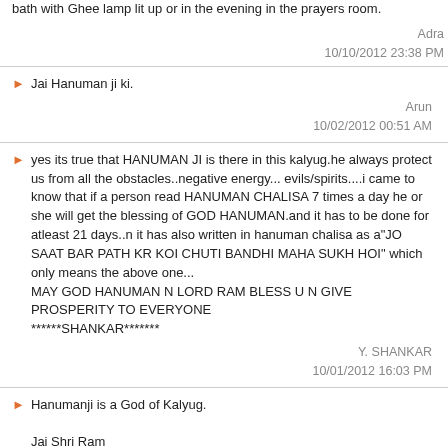bath with Ghee lamp lit up or in the evening in the prayers room.
Adra
10/10/2012 23:38 PM
Jai Hanuman ji ki.
Arun
10/02/2012 00:51 AM
yes its true that HANUMAN JI is there in this kalyug.he always protect us from all the obstacles..negative energy... evils/spirits....i came to know that if a person read HANUMAN CHALISA 7 times a day he or she will get the blessing of GOD HANUMAN.and it has to be done for atleast 21 days..n it has also written in hanuman chalisa as a"JO SAAT BAR PATH KR KOI CHUTI BANDHI MAHA SUKH HOI" which only means the above one...
MAY GOD HANUMAN N LORD RAM BLESS U N GIVE PROSPERITY TO EVERYONE
******SHANKAR*******
Y. SHANKAR
10/01/2012 16:03 PM
Hanumanji is a God of Kalyug.

Jai Shri Ram
Piyush
09/25/2012 03:10 AM